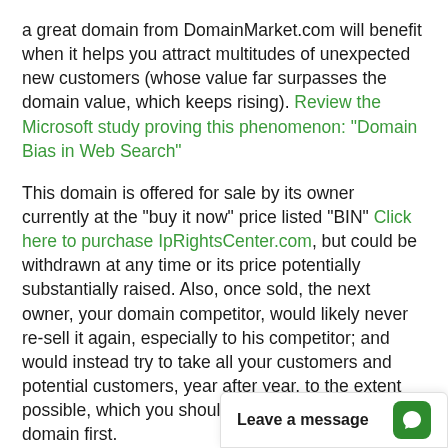a great domain from DomainMarket.com will benefit when it helps you attract multitudes of unexpected new customers (whose value far surpasses the domain value, which keeps rising). Review the Microsoft study proving this phenomenon: "Domain Bias in Web Search"
This domain is offered for sale by its owner currently at the "buy it now" price listed "BIN" Click here to purchase IpRightsCenter.com, but could be withdrawn at any time or its price potentially substantially raised. Also, once sold, the next owner, your domain competitor, would likely never re-sell it again, especially to his competitor; and would instead try to take all your customers and potential customers, year after year, to the extent possible, which you should do t… domain first.